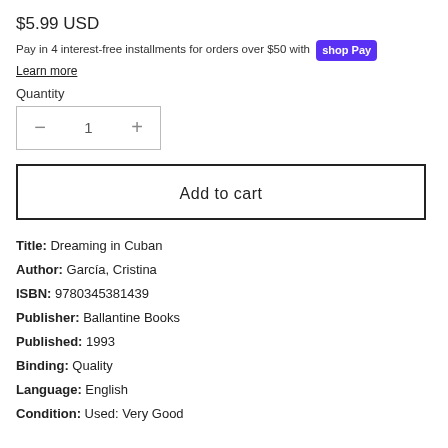$5.99 USD
Pay in 4 interest-free installments for orders over $50 with shop Pay
Learn more
Quantity
− 1 +
Add to cart
Title: Dreaming in Cuban
Author: García, Cristina
ISBN: 9780345381439
Publisher: Ballantine Books
Published: 1993
Binding: Quality
Language: English
Condition: Used: Very Good